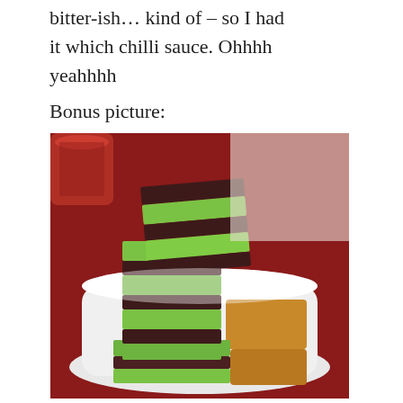bitter-ish… kind of – so I had it which chilli sauce. Ohhhh yeahhhh
Bonus picture:
[Figure (photo): Layered green and dark chocolate-colored kueh/jelly pieces stacked in a white container on a red tablecloth, with a glass visible in the background.]